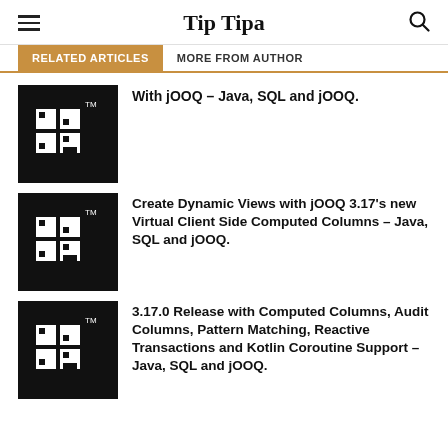Tip Tipa
RELATED ARTICLES | MORE FROM AUTHOR
[Figure (logo): jOOQ logo black square with white stylized letters]
With jOOQ – Java, SQL and jOOQ.
[Figure (logo): jOOQ logo black square with white stylized letters]
Create Dynamic Views with jOOQ 3.17’s new Virtual Client Side Computed Columns – Java, SQL and jOOQ.
[Figure (logo): jOOQ logo black square with white stylized letters]
3.17.0 Release with Computed Columns, Audit Columns, Pattern Matching, Reactive Transactions and Kotlin Coroutine Support – Java, SQL and jOOQ.